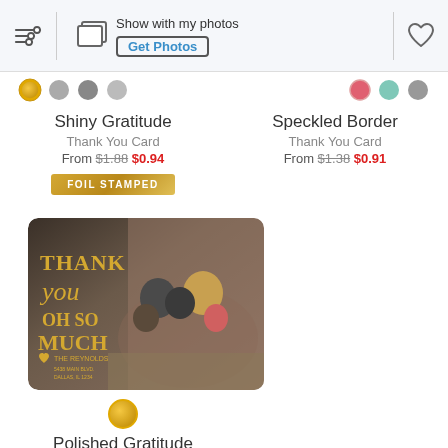[Figure (screenshot): Mobile app navigation bar with filter icon, photo/show with my photos option with Get Photos button, and heart/favorite icon]
Show with my photos
Get Photos
Shiny Gratitude
Thank You Card
From $1.88 $0.94
FOIL STAMPED
Speckled Border
Thank You Card
From $1.38 $0.91
[Figure (photo): Thank You card product showing a family photo with gold foil text saying THANK you OH SO MUCH, THE REYNOLDS family]
Polished Gratitude
Thank You Card
From $1.88 $0.94